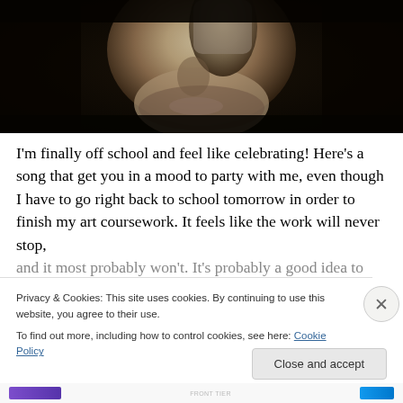[Figure (photo): Black and white/sepia close-up photo of a man's face with stubble, hand partially visible near face, dark background]
I'm finally off school and feel like celebrating! Here's a song that get you in a mood to party with me, even though I have to go right back to school tomorrow in order to finish my art coursework. It feels like the work will never stop, and it most probably won't. It's probably a good idea to
Privacy & Cookies: This site uses cookies. By continuing to use this website, you agree to their use.
To find out more, including how to control cookies, see here: Cookie Policy
Close and accept